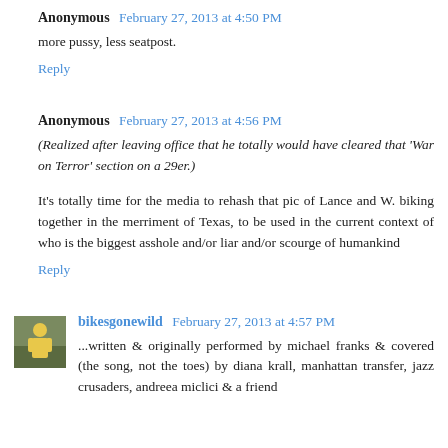Anonymous  February 27, 2013 at 4:50 PM
more pussy, less seatpost.
Reply
Anonymous  February 27, 2013 at 4:56 PM
(Realized after leaving office that he totally would have cleared that 'War on Terror' section on a 29er.)
It's totally time for the media to rehash that pic of Lance and W. biking together in the merriment of Texas, to be used in the current context of who is the biggest asshole and/or liar and/or scourge of humankind
Reply
bikesgonewild  February 27, 2013 at 4:57 PM
...written & originally performed by michael franks & covered (the song, not the toes) by diana krall, manhattan transfer, jazz crusaders, andreea miclici & a friend